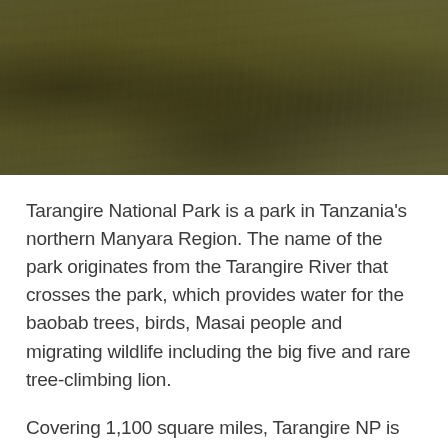[Figure (photo): Aerial or landscape photograph of Tarangire National Park, showing savanna terrain with olive-brown and dark khaki tones, trees visible in the background]
Tarangire National Park is a park in Tanzania's northern Manyara Region. The name of the park originates from the Tarangire River that crosses the park, which provides water for the baobab trees, birds, Masai people and migrating wildlife including the big five and rare tree-climbing lion.
Covering 1,100 square miles, Tarangire NP is known for its great number and diversity of wildlife and birding, this park is less touristy than the Serengeti or Ngorongoro Crater whilst on safari.